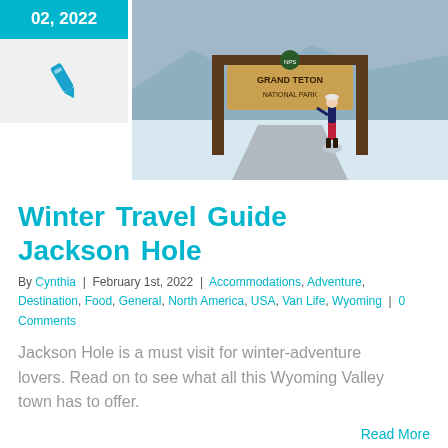[Figure (photo): Blue date box showing '02, 2022' in white text on cyan background, with pen/edit icon below on gray background]
[Figure (photo): Photo of a person posing at the Grand Teton National Park entrance sign in winter snow]
Winter Travel Guide Jackson Hole
By Cynthia | February 1st, 2022 | Accommodations, Adventure, Destination, Food, General, North America, USA, Van Life, Wyoming | 0 Comments
Jackson Hole is a must visit for winter-adventure lovers. Read on to see what all this Wyoming Valley town has to offer.
Read More
[Figure (photo): Partial bottom strip showing cyan date box and green/nature photo thumbnail]